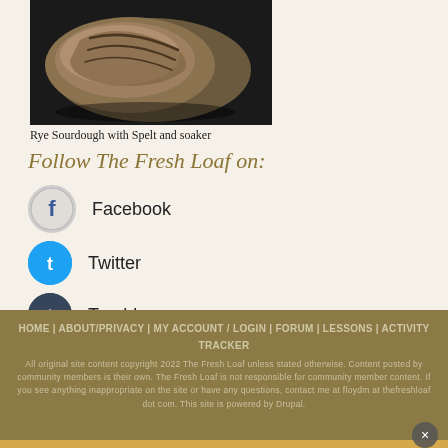[Figure (photo): Photo of a rye sourdough bread loaf with spelt, top view showing scored crust]
Rye Sourdough with Spelt and soaker
Follow The Fresh Loaf on:
Facebook
Twitter
Tumblr
This site (RSS)
HOME | ABOUT/PRIVACY | MY ACCOUNT / LOGIN | FORUM | LESSONS | ACTIVITY TRACKER
All original site content copyright 2022 The Fresh Loaf unless stated otherwise. Content posted by community members is their own. The Fresh Loaf is not responsible for community member content. If you see anything inappropriate on the site or have any questions, contact me at floydm at thefreshloaf dot com. This site is powered by Drupal.